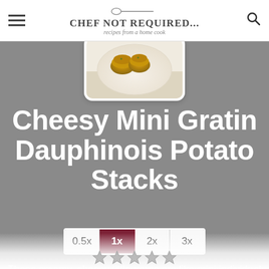CHEF NOT REQUIRED... recipes from a home cook
[Figure (photo): Food photo showing mini gratin potato stacks on a white plate with cloth napkin]
Cheesy Mini Gratin Dauphinois Potato Stacks
0.5x 1x 2x 3x (serving multiplier buttons)
These creamy, cheesy little gems are like mini individual serves of au gratin potatoes, made in a muffin tin!